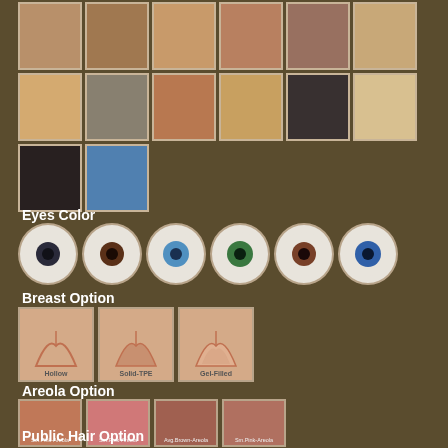[Figure (photo): Grid of 14 female figure thumbnail images showing different hair styles/colors for product customization options]
Eyes Color
[Figure (photo): Six circular eye color option thumbnails: dark blue/black, dark brown, light blue, green, brown/hazel, blue]
Breast Option
[Figure (illustration): Three breast option thumbnails labeled: Hollow, Solid-TPE, Gel-Filled]
Areola Option
[Figure (photo): Four areola option thumbnails with small text labels]
Public Hair Option